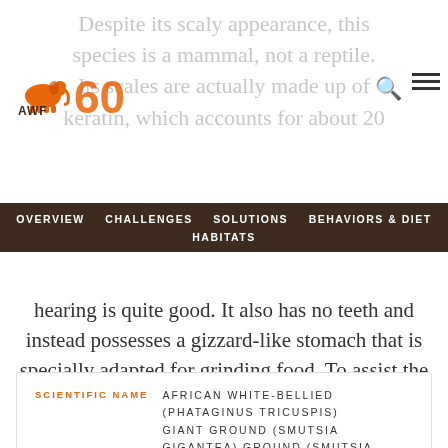Despite its scaly appearance, this species is a mammal, not a reptile. Its scales are actually made up of keratin, which accounts for about 20
[Figure (logo): AWF 60 anniversary logo with orange elephant]
OVERVIEW   CHALLENGES   SOLUTIONS   BEHAVIORS & DIET   HABITATS
hearing is quite good. It also has no teeth and instead possesses a gizzard-like stomach that is specially adapted for grinding food. To assist the grinding, this scaly creature consumes small stones and sand.
| SCIENTIFIC NAME |  |
| --- | --- |
|  | AFRICAN WHITE-BELLIED (PHATAGINUS TRICUSPIS) GIANT GROUND (SMUTSIA GIGANTEA) GROUND (SMUTSIA |